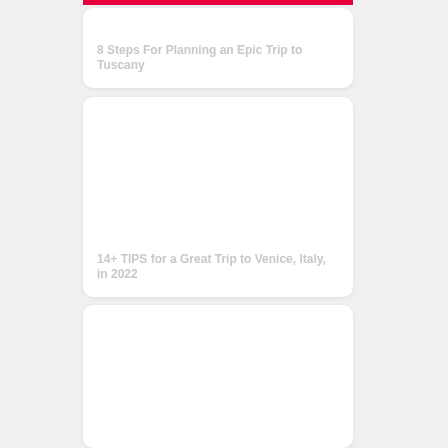[Figure (screenshot): Card with title: 8 Steps For Planning an Epic Trip to Tuscany]
[Figure (screenshot): Card with title: 14+ TIPS for a Great Trip to Venice, Italy, in 2022]
[Figure (screenshot): Card with mostly blank image area, no visible title text]